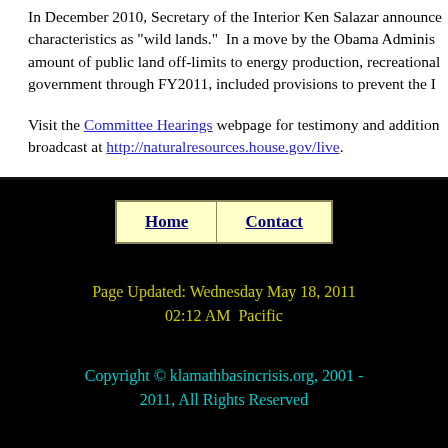In December 2010, Secretary of the Interior Ken Salazar announced characteristics as "wild lands." In a move by the Obama Administration amount of public land off-limits to energy production, recreational government through FY2011, included provisions to prevent the I
Visit the Committee Hearings webpage for testimony and additional broadcast at http://naturalresources.house.gov/live.
| Home | Contact |
| --- | --- |
Page Updated: Wednesday May 18, 2011 02:12 AM  Pacific
Copyright © klamathbasincrisis.org, 2001 - 2011, All Rights Reserved